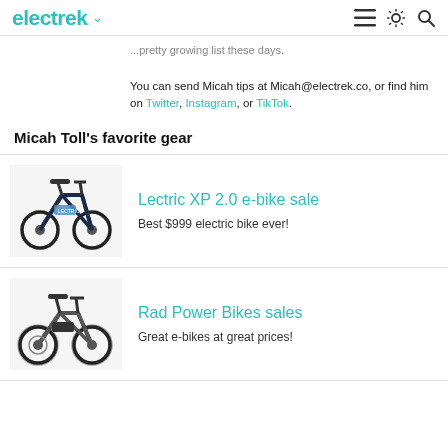electrek
...pretty growing list these days.

You can send Micah tips at Micah@electrek.co, or find him on Twitter, Instagram, or TikTok.
Micah Toll's favorite gear
[Figure (photo): Photo of Lectric XP 2.0 folding electric bike in dark blue/black color]
Lectric XP 2.0 e-bike sale
Best $999 electric bike ever!
[Figure (photo): Photo of Rad Power Bike in grey/black color]
Rad Power Bikes sales
Great e-bikes at great prices!